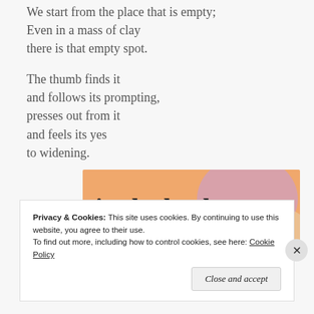We start from the place that is empty;
Even in a mass of clay
there is that empty spot.
The thumb finds it
and follows its prompting,
presses out from it
and feels its yes
to widening.
[Figure (illustration): Advertisement banner with orange and pink/lavender background shapes, text 'in the back.' in large bold dark serif font]
Privacy & Cookies: This site uses cookies. By continuing to use this website, you agree to their use.
To find out more, including how to control cookies, see here: Cookie Policy
Close and accept